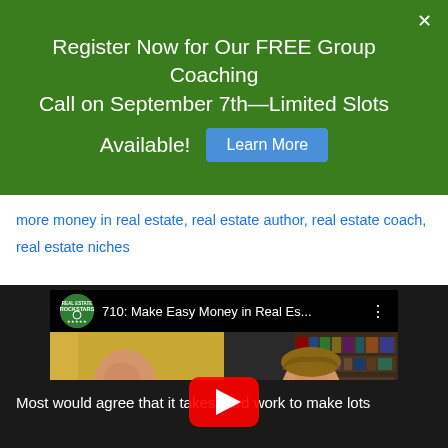Register Now for Our FREE Group Coaching Call on September 7th—Limited Slots Available! [Learn More]
more money in real estate, real estate author, real estate coach, real estate niches
[Figure (screenshot): YouTube video thumbnail showing two people in a split screen: a bald man on the left in front of a yellow wall with a microphone, and a man in a pink shirt on the right in front of a bookshelf. The video title reads '710: Make Easy Money in Real Es...' with a Real Estate Rockstars channel logo. A red YouTube play button is centered over the split screen.]
Most would agree that it takes hard work to make lots